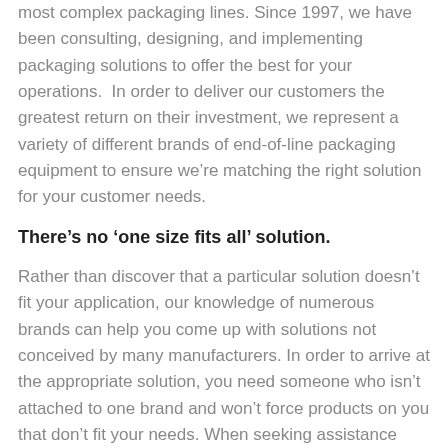most complex packaging lines. Since 1997, we have been consulting, designing, and implementing packaging solutions to offer the best for your operations.  In order to deliver our customers the greatest return on their investment, we represent a variety of different brands of end-of-line packaging equipment to ensure we're matching the right solution for your customer needs.
There's no 'one size fits all' solution.
Rather than discover that a particular solution doesn't fit your application, our knowledge of numerous brands can help you come up with solutions not conceived by many manufacturers. In order to arrive at the appropriate solution, you need someone who isn't attached to one brand and won't force products on you that don't fit your needs. When seeking assistance from a particular manufacturer, they typically recommend a solution suitable to their business model. You also run